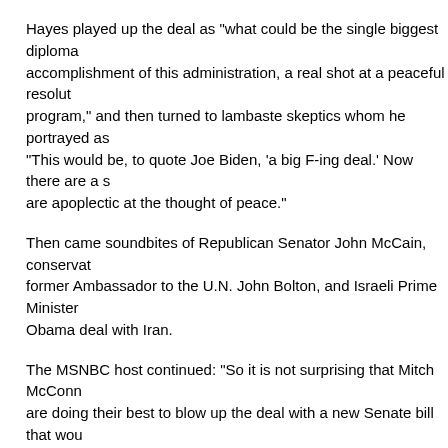Hayes played up the deal as "what could be the single biggest diploma accomplishment of this administration, a real shot at a peaceful resolut program," and then turned to lambaste skeptics whom he portrayed as "This would be, to quote Joe Biden, 'a big F-ing deal.' Now there are a s are apoplectic at the thought of peace."
Then came soundbites of Republican Senator John McCain, conservat former Ambassador to the U.N. John Bolton, and Israeli Prime Minister Obama deal with Iran.
The MSNBC host continued: "So it is not surprising that Mitch McConn are doing their best to blow up the deal with a new Senate bill that wou Iran."
After quoting President Obama's view that more sanctions would under Hayes further trashed skeptics: "In other words, it is absolutely clear to that the bill is designed to destroy the current talks, burn diplomacy to t ashes. End of story. So why the heck are 16 Senate Democrats co-spo legislation?"
He even accused lobbyist AIPAC...